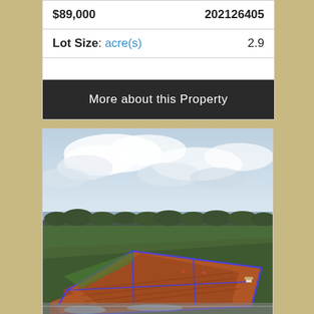| $89,000 | 202126405 |
| Lot Size: acre(s) | 2.9 |
|  |  |
More about this Property
[Figure (photo): Aerial drone photo of a rural land parcel with red soil fields outlined in blue, surrounded by greenery, near a body of water in the background under a cloudy sky.]